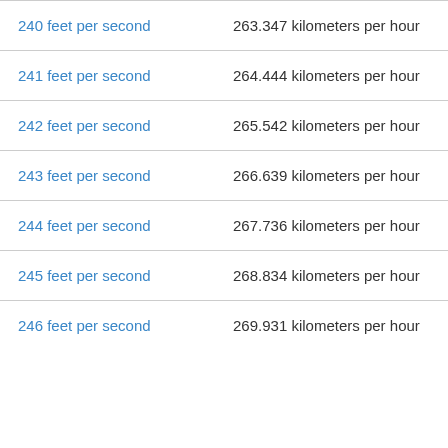| feet per second | kilometers per hour |
| --- | --- |
| 240 feet per second | 263.347 kilometers per hour |
| 241 feet per second | 264.444 kilometers per hour |
| 242 feet per second | 265.542 kilometers per hour |
| 243 feet per second | 266.639 kilometers per hour |
| 244 feet per second | 267.736 kilometers per hour |
| 245 feet per second | 268.834 kilometers per hour |
| 246 feet per second | 269.931 kilometers per hour |